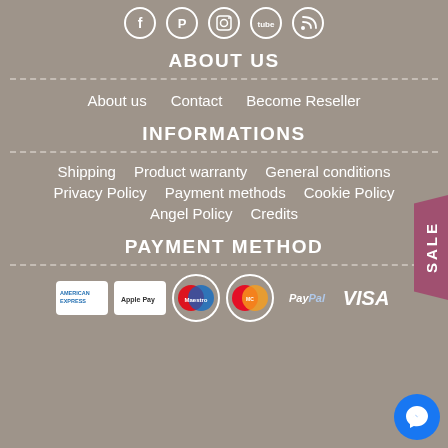[Figure (illustration): Row of 5 social media icons (Facebook, Pinterest, Instagram, YouTube/Tube, RSS) in white circular outlines on grey background]
ABOUT US
About us
Contact
Become Reseller
INFORMATIONS
Shipping
Product warranty
General conditions
Privacy Policy
Payment methods
Cookie Policy
Angel Policy
Credits
PAYMENT METHOD
[Figure (illustration): Row of payment method icons: American Express, Apple Pay, Maestro, MasterCard, PayPal, Visa on grey background]